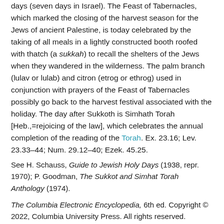days (seven days in Israel). The Feast of Tabernacles, which marked the closing of the harvest season for the Jews of ancient Palestine, is today celebrated by the taking of all meals in a lightly constructed booth roofed with thatch (a sukkah) to recall the shelters of the Jews when they wandered in the wilderness. The palm branch (lulav or lulab) and citron (etrog or ethrog) used in conjunction with prayers of the Feast of Tabernacles possibly go back to the harvest festival associated with the holiday. The day after Sukkoth is Simhath Torah [Heb.,=rejoicing of the law], which celebrates the annual completion of the reading of the Torah. Ex. 23.16; Lev. 23.33–44; Num. 29.12–40; Ezek. 45.25.
See H. Schauss, Guide to Jewish Holy Days (1938, repr. 1970); P. Goodman, The Sukkot and Simhat Torah Anthology (1974).
The Columbia Electronic Encyclopedia, 6th ed. Copyright © 2022, Columbia University Press. All rights reserved.
ADVERTISEMENT
See more Encyclopedia articles on: Judaism